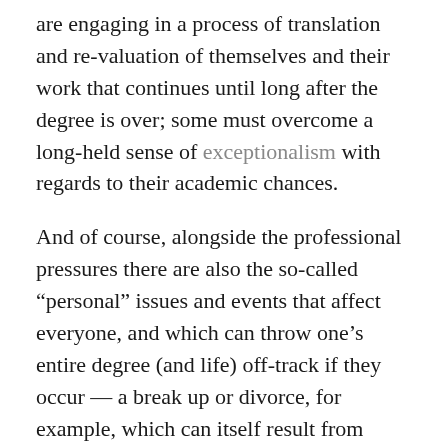are engaging in a process of translation and re-valuation of themselves and their work that continues until long after the degree is over; some must overcome a long-held sense of exceptionalism with regards to their academic chances.
And of course, alongside the professional pressures there are also the so-called “personal” issues and events that affect everyone, and which can throw one’s entire degree (and life) off-track if they occur — a break up or divorce, for example, which can itself result from relationship problems triggered by the academic lifestyle.
A larger problem is not only the context described above (and its effects), but also the thickly oppressive silence that surrounds it. Not coincidentally, I think